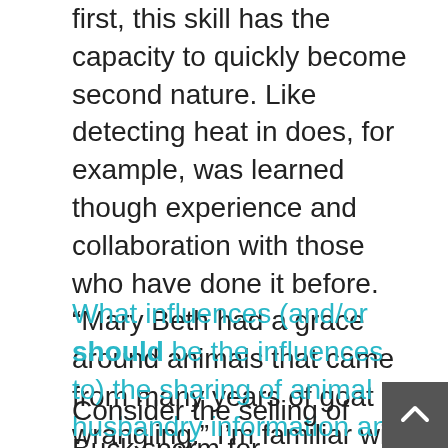first, this skill has the capacity to quickly become second nature. Like detecting heat in does, for example, was learned though experience and collaboration with those who have done it before. “Mary Beth had a grace around animals that came from many years of goat wrangling.” I’m familiar with this characteristic of not being flustered as it reminds me of my grandma who lived her whole life on a farm. Once I saw her kill a hurt crow on the ground without hesitation with a golf club. It’s common sense that can only be gained by experiences in doing.
What influences (and/or should be the influences to) the sharing of animal husbandry information and resources?
Consider the selling of Buck sperm for reproduction and the giving of a French cheese recipe. How are the factors of market competition, good will